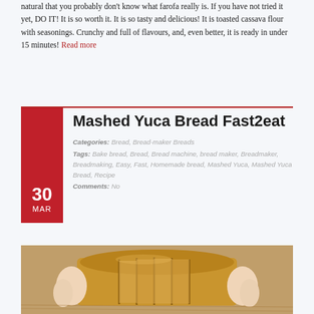natural that you probably don't know what farofa really is. If you have not tried it yet, DO IT! It is so worth it. It is so tasty and delicious! It is toasted cassava flour with seasonings. Crunchy and full of flavours, and, even better, it is ready in under 15 minutes! Read more
Mashed Yuca Bread Fast2eat
Categories: Bread, Bread-maker Breads Tags: Bake bread, Bread, Bread machine, bread maker, Breadmaker, Breadmaking, Easy, Fast, Homemade bread, Mashed Yuca, Mashed Yuca Bread, Recipe Comments: No
[Figure (photo): Sliced loaf of mashed yuca bread held in hands against a wooden background]